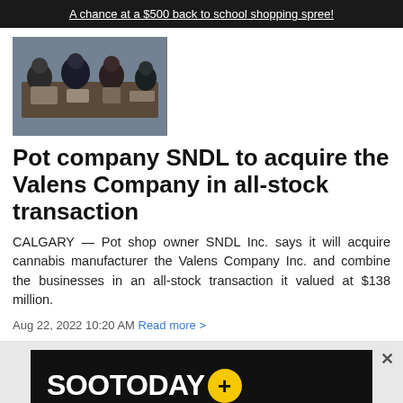A chance at a $500 back to school shopping spree!
[Figure (photo): Group of people sitting around a table, overhead/angled view]
Pot company SNDL to acquire the Valens Company in all-stock transaction
CALGARY — Pot shop owner SNDL Inc. says it will acquire cannabis manufacturer the Valens Company Inc. and combine the businesses in an all-stock transaction it valued at $138 million.
Aug 22, 2022 10:20 AM Read more >
[Figure (logo): SooToday+ advertisement banner with yellow circle plus logo, features auctions prizes more, Click here to join]